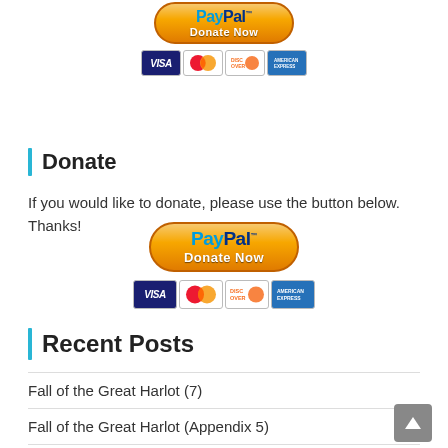[Figure (other): PayPal Donate Now button with credit card logos (Visa, MasterCard, Discover, American Express) at top of page]
Donate
If you would like to donate, please use the button below. Thanks!
[Figure (other): PayPal Donate Now button with credit card logos (Visa, MasterCard, Discover, American Express)]
Recent Posts
Fall of the Great Harlot (7)
Fall of the Great Harlot (Appendix 5)
Fall of the Great Harlot (Appendix 4)
Revelation 18: Fall of the Great Harlot (6C)